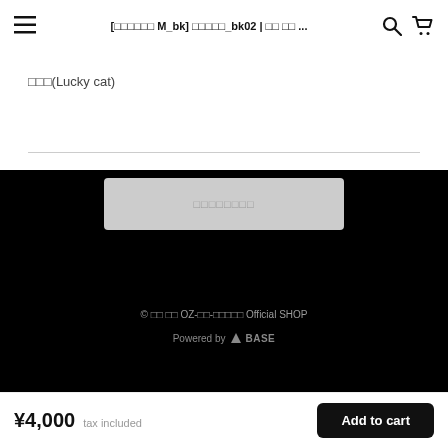[□□□□□□ M_bk] □□□□□_bk02 | □□ □□ ...
□□□(Lucky cat)
□□□□□□□□
© □□ □□ OZ-□□-□□□□□ Official SHOP
Powered by ▲BASE
¥4,000 tax included
Add to cart